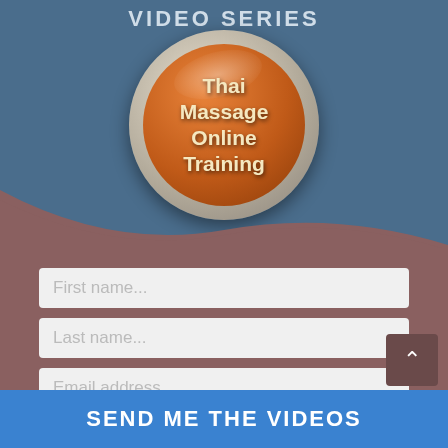Video Series
[Figure (logo): Orange glossy circular badge with text 'Thai Massage Online Training' on a steel blue background]
First name...
Last name...
Email address...
SEND ME THE VIDEOS